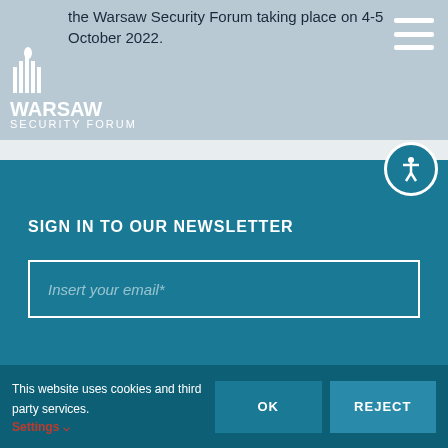the Warsaw Security Forum taking place on 4-5 October 2022.
[Figure (logo): Warsaw Security Forum logo with flame/building icon and WARSAW SECURITY FORUM text in white]
SIGN IN TO OUR NEWSLETTER
Insert your email*
This website uses cookies and third party services. Settings
OK
REJECT